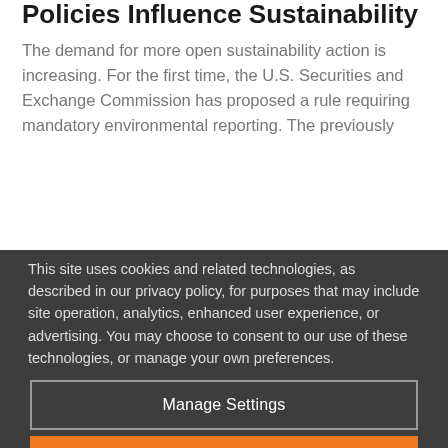Policies Influence Sustainability
The demand for more open sustainability action is increasing. For the first time, the U.S. Securities and Exchange Commission has proposed a rule requiring mandatory environmental reporting. The previously
This site uses cookies and related technologies, as described in our privacy policy, for purposes that may include site operation, analytics, enhanced user experience, or advertising. You may choose to consent to our use of these technologies, or manage your own preferences.
Manage Settings
Accept
Decline All
Privacy Policy